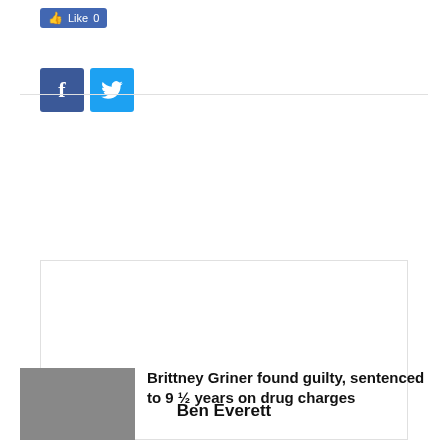[Figure (other): Facebook Like button showing 0 likes]
[Figure (other): Social sharing buttons: Facebook (blue) and Twitter (light blue)]
[Figure (other): Author card box with name Ben Everett]
RELATED ARTICLES   MORE FROM AUTHOR
Brittney Griner found guilty, sentenced to 9 ½ years on drug charges